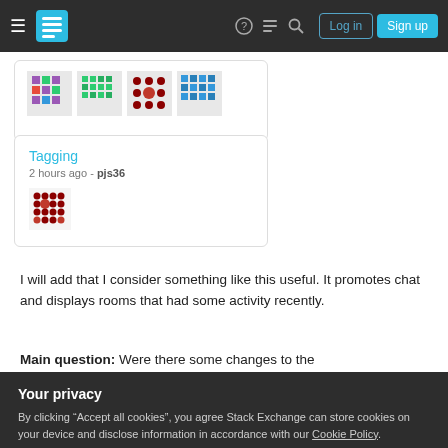Stack Exchange navigation bar with Log in and Sign up buttons
[Figure (screenshot): Partial card showing identicon images with colorful pixel patterns]
Tagging
2 hours ago - pjs36
[Figure (screenshot): Small dark red identicon pixel pattern for user pjs36]
I will add that I consider something like this useful. It promotes chat and displays rooms that had some activity recently.
Main question: Were there some changes to the
chatrooms is shown or not are not publicly known.
Your privacy
By clicking "Accept all cookies", you agree Stack Exchange can store cookies on your device and disclose information in accordance with our Cookie Policy.
Accept all cookies  Customize settings